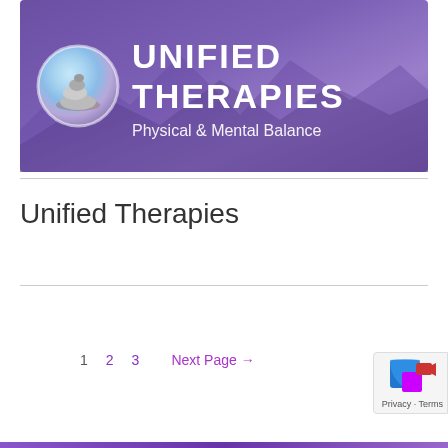[Figure (logo): Unified Therapies logo banner with purple gradient background, stacked stones circle icon on left, and white text 'UNIFIED THERAPIES / Physical & Mental Balance']
Unified Therapies
1  2  3  Next Page →